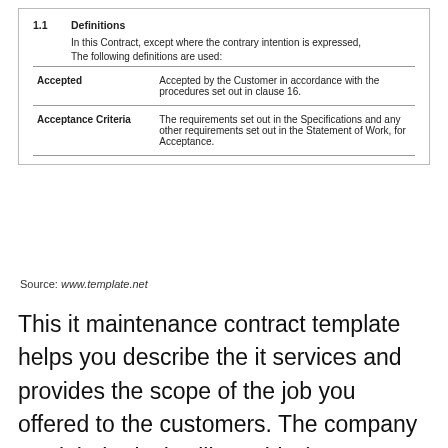1.1 Definitions
In this Contract, except where the contrary intention is expressed,
The following definitions are used:
| Term | Definition |
| --- | --- |
| Accepted | Accepted by the Customer in accordance with the procedures set out in clause 16. |
| Acceptance Criteria | The requirements set out in the Specifications and any other requirements set out in the Statement of Work, for Acceptance. |
Source: www.template.net
This it maintenance contract template helps you describe the it services and provides the scope of the job you offered to the customers. The company xxx it help desk will provide (customer name/department name) with the following support: